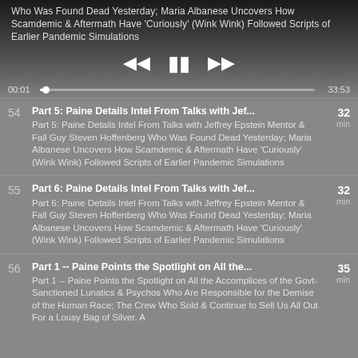Who Was Found Dead Yesterday; Maria Albanese Uncovers How Scamdemic & Aftermath Have 'Curiously' (Wink Wink) Followed Scripts of Earlier Pandemic Simulations
00:01  33:53
54  Part 5: Paine Details Intel From Talks with Jef...  32 min  Part 5: Paine Details Intel From Talks with Jeffrey Epstein Mentor & Fall Guy Steven Hoffenberg Who Was Found Dead Yesterday; Maria Albanese Uncovers How Scamdemic & Aftermath Have 'Curiously' (Wink Wink) Followed Scripts of Earlier Pandemic Simulations
55  Part 6: Paine Details Intel From Talks with Jef...  32 min  Part 6: Paine Details Intel From Talks with Jeffrey Epstein Mentor & Fall Guy Steven Hoffenberg Who Was Found Dead Yesterday; Maria Albanese Uncovers How Scamdemic & Aftermath Have 'Curiously' (Wink Wink) Followed Scripts of Earlier Pandemic Simulations
56  Part 1 -- Paine Points the Spotlight on All the...  35 min  Part 1 -- Paine Points the Spotlight on All the Accomplices of the Govt-Sanctioned Lunatics & Psychos Who Are Responsible for the Demise of the Human Race; The Crew Who Sold & Continue to Sell Us All Out For a Lousy Bag of Silver. A